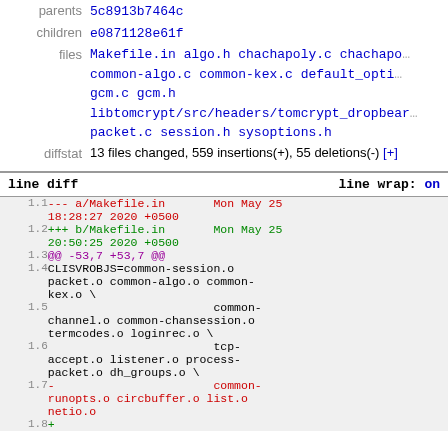parents 5c8913b7464c
children e0871128e61f
files Makefile.in algo.h chachapoly.c chachapoly... common-algo.c common-kex.c default_opti... gcm.c gcm.h libtomcrypt/src/headers/tomcrypt_dropbear... packet.c session.h sysoptions.h
diffstat 13 files changed, 559 insertions(+), 55 deletions(-) [+]
line diff   line wrap: on
| line | content |
| --- | --- |
| 1.1 | --- a/Makefile.in       Mon May 25 18:28:27 2020 +0500 |
| 1.2 | +++ b/Makefile.in       Mon May 25 20:50:25 2020 +0500 |
| 1.3 | @@ -53,7 +53,7 @@ |
| 1.4 | CLISVROBJS=common-session.o packet.o common-algo.o common-kex.o \ |
| 1.5 |                         common-channel.o common-chansession.o termcodes.o loginrec.o \ |
| 1.6 |                         tcp-accept.o listener.o process-packet.o dh_groups.o \ |
| 1.7 | -                       common-runopts.o circbuffer.o list.o netio.o |
| 1.8 | + |